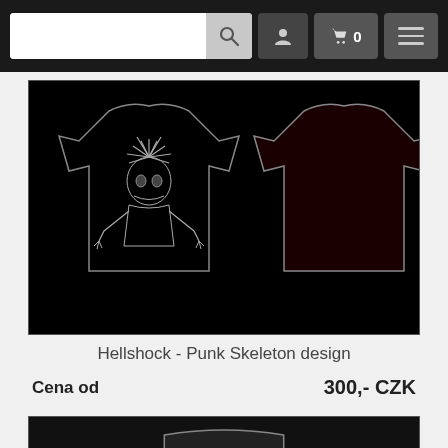Navigation bar with search, user, cart (0 items), and menu buttons
[Figure (photo): Product image showing front and back of a black t-shirt with 'Hellshock - Punk Skeleton' design on a black background]
Hellshock - Punk Skeleton design
Cena od   300,- CZK
[Figure (photo): Second product t-shirt image (partially visible at bottom of page)]